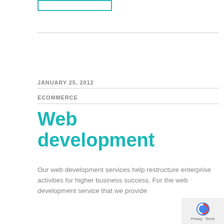[Figure (other): Search input box with teal border]
JANUARY 25, 2012
ECOMMERCE
Web development
Our web development services help restructure enterprise activities for higher business success. For the web development service that we provide